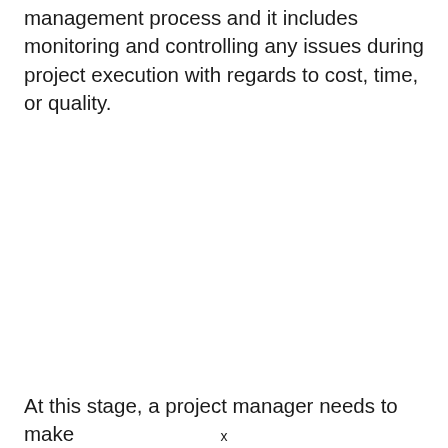management process and it includes monitoring and controlling any issues during project execution with regards to cost, time, or quality.
At this stage, a project manager needs to make
x